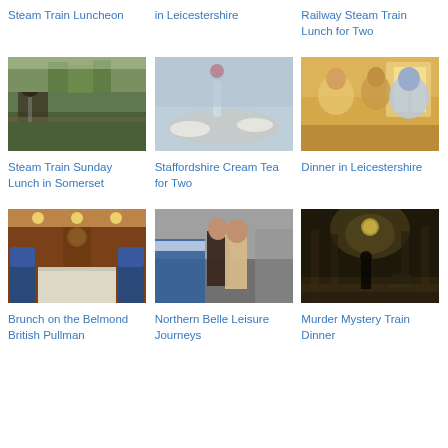Steam Train Luncheon
in Leicestershire
Railway Steam Train Lunch for Two
[Figure (photo): Steam train at a station platform with trees in background]
[Figure (photo): Table set for afternoon tea with glass vase and rose]
[Figure (photo): People dining inside a train carriage]
Steam Train Sunday Lunch in Somerset
Staffordshire Cream Tea for Two
Dinner in Leicestershire
[Figure (photo): Interior of vintage Pullman train carriage with blue seats and white tablecloths]
[Figure (photo): Couple on a train platform, man in uniform speaking to woman in beige coat]
[Figure (photo): Dark atmospheric train station with misty light and a clock]
Brunch on the Belmond British Pullman
Northern Belle Leisure Journeys
Murder Mystery Train Dinner